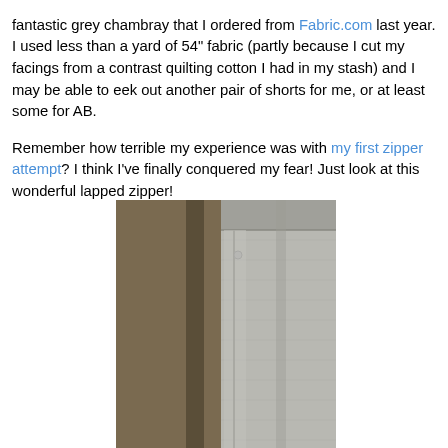fantastic grey chambray that I ordered from Fabric.com last year. I used less than a yard of 54" fabric (partly because I cut my facings from a contrast quilting cotton I had in my stash) and I may be able to eek out another pair of shorts for me, or at least some for AB.
Remember how terrible my experience was with my first zipper attempt? I think I've finally conquered my fear! Just look at this wonderful lapped zipper!
[Figure (photo): Close-up photograph of grey chambray shorts showing a lapped zipper detail. The fabric is a textured grey woven material. The shorts are laid flat on an orange/golden surface. The zipper area is clearly visible on the right side of the image.]